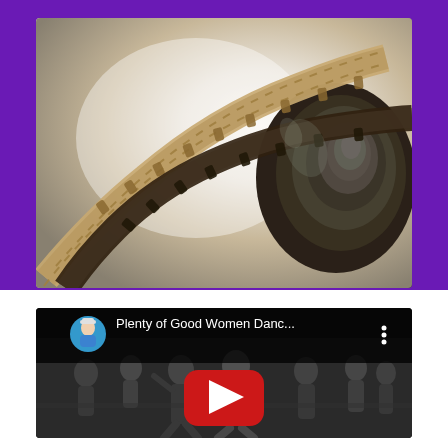[Figure (photo): Close-up photo of film strips/reels curling and spiraling against a light background, showing the perforated edges of the film strip]
[Figure (screenshot): YouTube video thumbnail showing a video titled 'Plenty of Good Women Danc...' with a user avatar, YouTube play button in the center, and a black and white image of dancing people in the background]